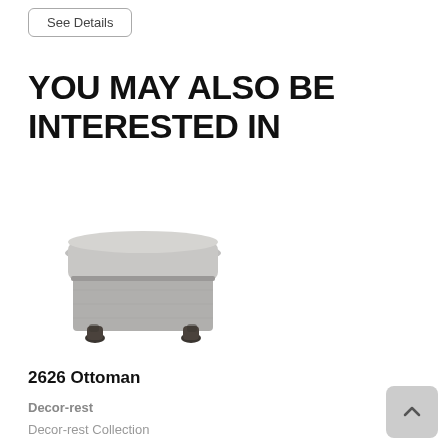See Details
YOU MAY ALSO BE INTERESTED IN
[Figure (photo): Gray upholstered square ottoman with dark wooden legs on white background]
2626 Ottoman
Decor-rest
Decor-rest Collection